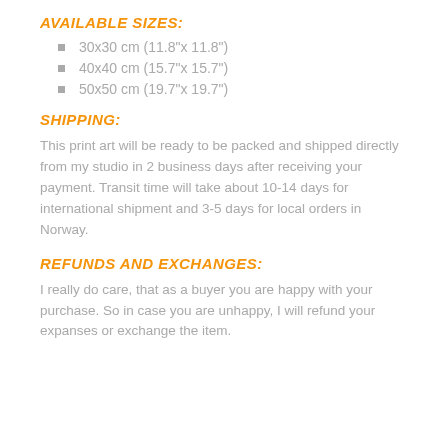AVAILABLE SIZES:
30x30 cm  (11.8"x 11.8")
40x40 cm  (15.7"x 15.7")
50x50 cm  (19.7"x 19.7")
SHIPPING:
This print art will be ready to be packed and shipped directly from my studio in 2 business days after receiving your payment. Transit time will take about 10-14 days for international shipment and 3-5 days for local orders in Norway.
REFUNDS AND EXCHANGES:
I really do care, that as a buyer you are happy with your purchase. So in case you are unhappy, I will refund your expanses or exchange the item.